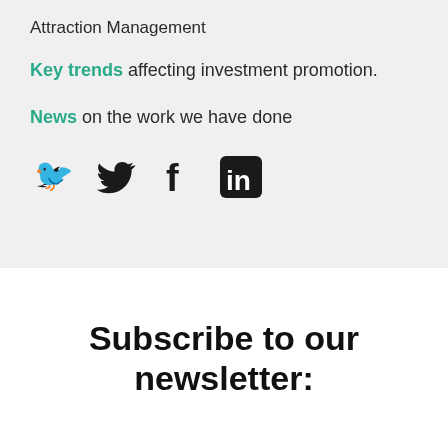Attraction Management
Key trends affecting investment promotion.
News on the work we have done
[Figure (illustration): Social media icons: Twitter bird, Facebook f, LinkedIn in logo]
Subscribe to our newsletter: